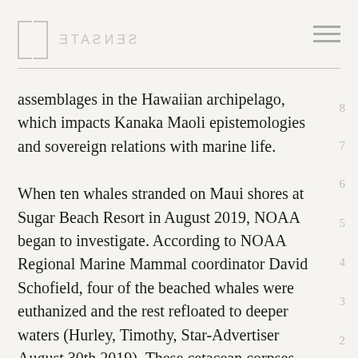SENSATE
assemblages in the Hawaiian archipelago, which impacts Kanaka Maoli epistemologies and sovereign relations with marine life.
When ten whales stranded on Maui shores at Sugar Beach Resort in August 2019, NOAA began to investigate. According to NOAA Regional Marine Mammal coordinator David Schofield, four of the beached whales were euthanized and the rest refloated to deeper waters (Hurley, Timothy, Star-Advertiser August 30th 2019). These cetacean corpses were transported to Honolulu for postmortem exams with the hopes of finding signs of disease or other reasons that might have led to the stranding. While some stranding events are connected with SONAR...